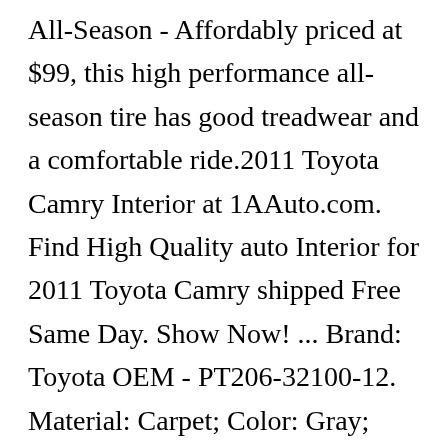All-Season - Affordably priced at $99, this high performance all-season tire has good treadwear and a comfortable ride.2011 Toyota Camry Interior at 1AAuto.com. Find High Quality auto Interior for 2011 Toyota Camry shipped Free Same Day. Show Now! ... Brand: Toyota OEM - PT206-32100-12. Material: Carpet; Color: Gray; Quantity: 4 Piece; ... 2011 Toyota Camry Manual Transmission Clutch or Brake Pedal Pad Toyota OEM 31321-52010. 1. Brand: